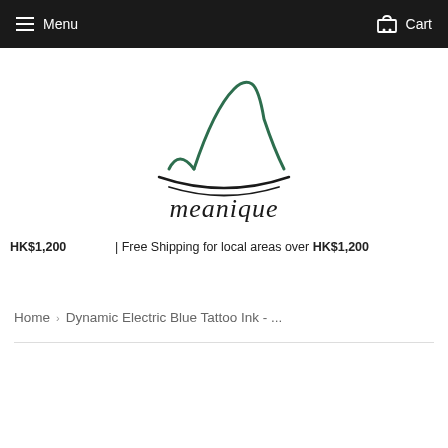Menu  Cart
[Figure (logo): Meanique brand logo: a stylized mountain/wave shape in dark green above a cursive 'meanique' wordmark in black]
HK$1,200  | Free Shipping for local areas over HK$1,200
Home > Dynamic Electric Blue Tattoo Ink - ...